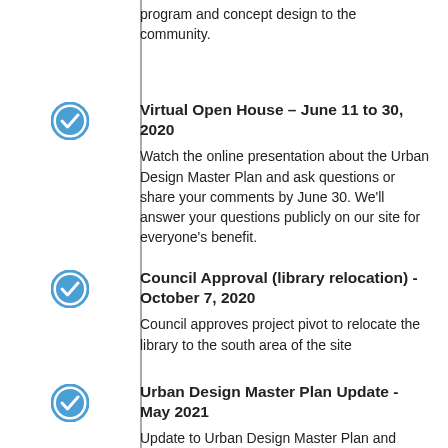program and concept design to the community.
Virtual Open House – June 11 to 30, 2020
Watch the online presentation about the Urban Design Master Plan and ask questions or share your comments by June 30. We'll answer your questions publicly on our site for everyone's benefit.
Council Approval (library relocation) - October 7, 2020
Council approves project pivot to relocate the library to the south area of the site
Urban Design Master Plan Update - May 2021
Update to Urban Design Master Plan and library design to reflect approved changes